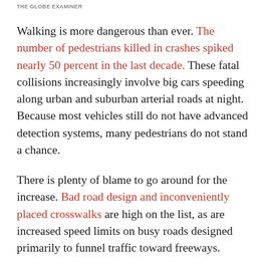THE GLOBE EXAMINER
Walking is more dangerous than ever. The number of pedestrians killed in crashes spiked nearly 50 percent in the last decade. These fatal collisions increasingly involve big cars speeding along urban and suburban arterial roads at night. Because most vehicles still do not have advanced detection systems, many pedestrians do not stand a chance.
There is plenty of blame to go around for the increase. Bad road design and inconveniently placed crosswalks are high on the list, as are increased speed limits on busy roads designed primarily to funnel traffic toward freeways.